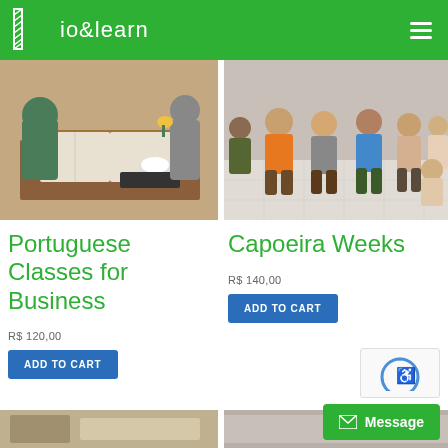Rio&learn
[Figure (photo): Two people studying at a wooden table with an open book, coffee cup on a plate. Indoor cafe or dining room setting.]
[Figure (photo): Group of young people posing together, crouching and sitting on a tiled floor indoors.]
Portuguese Classes for Business
R$ 120,00
ADD TO CART
Capoeira Weeks
R$ 140,00
ADD TO CART
[Figure (photo): Partial bottom image on the left side, partially visible.]
[Figure (photo): Partial bottom image on the right side, partially visible.]